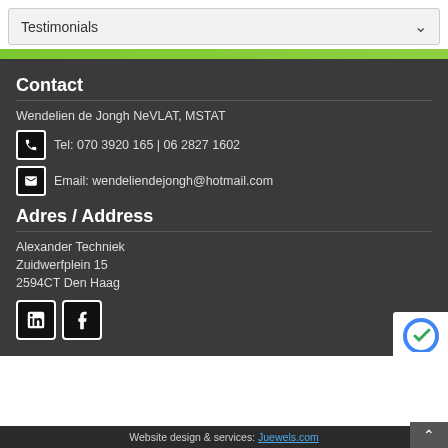Testimonials
Contact
Wendelien de Jongh NeVLAT, MSTAT
Tel: 070 3920 165 | 06 2827 1602
Email: wendeliendejongh@hotmail.com
Adres / Address
Alexander Techniek
Zuidwerfplein 15
2594CT Den Haag
[Figure (logo): LinkedIn and Facebook social media icons]
Website design & services: Juewels.com